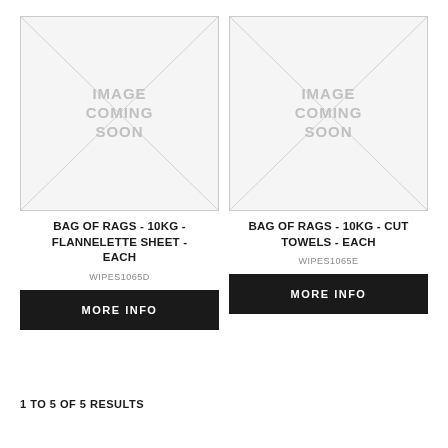[Figure (other): Image Coming Soon placeholder for Bag of Rags - 10kg - Flannelette Sheet]
BAG OF RAGS - 10KG - FLANNELETTE SHEET - EACH
WIPES1065D
MORE INFO
[Figure (other): Image Coming Soon placeholder for Bag of Rags - 10kg - Cut Towels]
BAG OF RAGS - 10KG - CUT TOWELS - EACH
WIPES1065E
MORE INFO
1 TO 5 OF 5 RESULTS